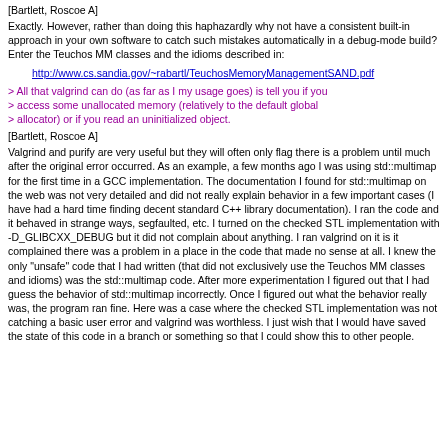[Bartlett, Roscoe A]
Exactly. However, rather than doing this haphazardly why not have a consistent built-in approach in your own software to catch such mistakes automatically in a debug-mode build? Enter the Teuchos MM classes and the idioms described in:
http://www.cs.sandia.gov/~rabartl/TeuchosMemoryManagementSAND.pdf
> All that valgrind can do (as far as I my usage goes) is tell you if you
> access some unallocated memory (relatively to the default global
> allocator) or if you read an uninitialized object.
[Bartlett, Roscoe A]
Valgrind and purify are very useful but they will often only flag there is a problem until much after the original error occurred. As an example, a few months ago I was using std::multimap for the first time in a GCC implementation. The documentation I found for std::multimap on the web was not very detailed and did not really explain behavior in a few important cases (I have had a hard time finding decent standard C++ library documentation). I ran the code and it behaved in strange ways, segfaulted, etc. I turned on the checked STL implementation with -D_GLIBCXX_DEBUG but it did not complain about anything. I ran valgrind on it is it complained there was a problem in a place in the code that made no sense at all. I knew the only "unsafe" code that I had written (that did not exclusively use the Teuchos MM classes and idioms) was the std::multimap code. After more experimentation I figured out that I had guess the behavior of std::multimap incorrectly. Once I figured out what the behavior really was, the program ran fine. Here was a case where the checked STL implementation was not catching a basic user error and valgrind was worthless. I just wish that I would have saved the state of this code in a branch or something so that I could show this to other people.